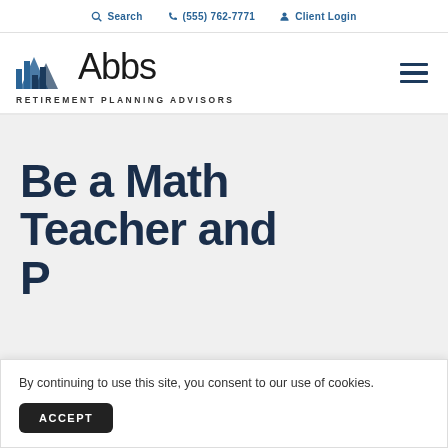Search  (555) 762-7771  Client Login
[Figure (logo): Abbs Retirement Planning Advisors logo with blue triangular mountain/bar chart icon and text 'Abbs' and 'RETIREMENT PLANNING ADVISORS']
Be a Math Teacher and P...
By continuing to use this site, you consent to our use of cookies.
ACCEPT